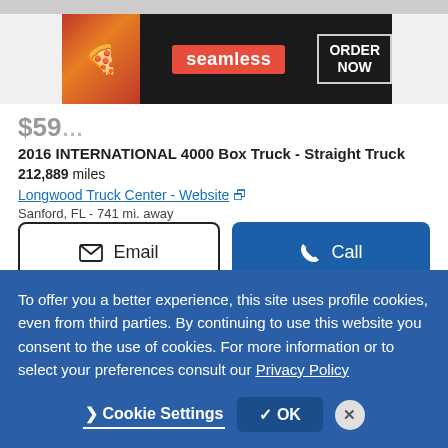[Figure (screenshot): Seamless food delivery advertisement banner with pizza image, Seamless logo in red, and ORDER NOW button]
2016 INTERNATIONAL 4000 Box Truck - Straight Truck
212,889 miles
Longwood Truck Center - Website
Sanford, FL - 741 mi. away
[Figure (screenshot): Email and Call buttons for dealer contact]
Video chat with this dealer
[Figure (photo): Second vehicle listing preview with Premium badge and heart/save button]
To offer you a better experience, this site uses profile cookies, even from third parties. By continuing to use this website you consent to the use of cookies. For more information or to select your preferences consult our Privacy Policy